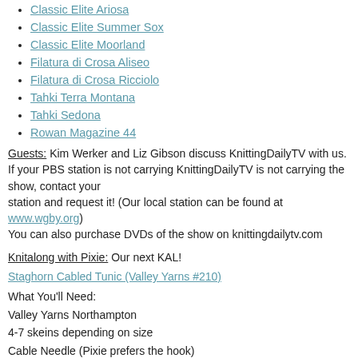Classic Elite Ariosa
Classic Elite Summer Sox
Classic Elite Moorland
Filatura di Crosa Aliseo
Filatura di Crosa Ricciolo
Tahki Terra Montana
Tahki Sedona
Rowan Magazine 44
Guests: Kim Werker and Liz Gibson discuss KnittingDailyTV with us. If your PBS station is not carrying KnittingDailyTV is not carrying the show, contact your station and request it! (Our local station can be found at www.wgby.org) You can also purchase DVDs of the show on knittingdailytv.com
Knitalong with Pixie: Our next KAL! Staghorn Cabled Tunic (Valley Yarns #210) What You'll Need: Valley Yarns Northampton 4-7 skeins depending on size Cable Needle (Pixie prefers the hook) Size 7 and 8 needle, or size to obtain gauge You'll also need buttons at the end, but we recommend waiting until you
View and Purchase the Pattern